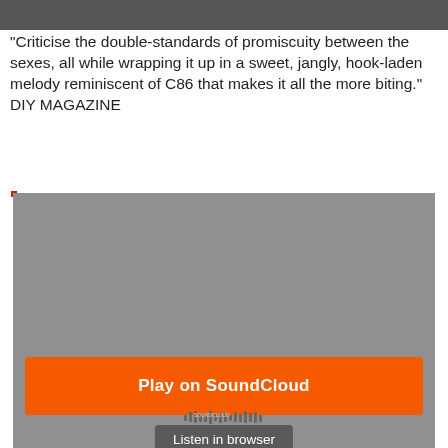[Figure (photo): Dark/black and white image at top, partially cropped]
"Criticise the double-standards of promiscuity between the sexes, all while wrapping it up in a sweet, jangly, hook-laden melody reminiscent of C86 that makes it all the more biting." DIY MAGAZINE
[Figure (screenshot): SoundCloud embedded player widget with orange Play on SoundCloud button and Listen in browser button on a grey background]